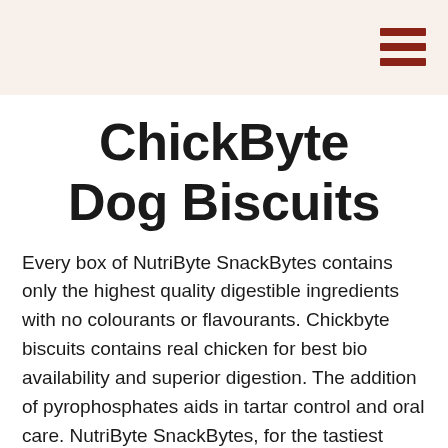ChickByte Dog Biscuits
Every box of NutriByte SnackBytes contains only the highest quality digestible ingredients with no colourants or flavourants. Chickbyte biscuits contains real chicken for best bio availability and superior digestion. The addition of pyrophosphates aids in tartar control and oral care. NutriByte SnackBytes, for the tastiest snack in every byte!
Available In these sizes: